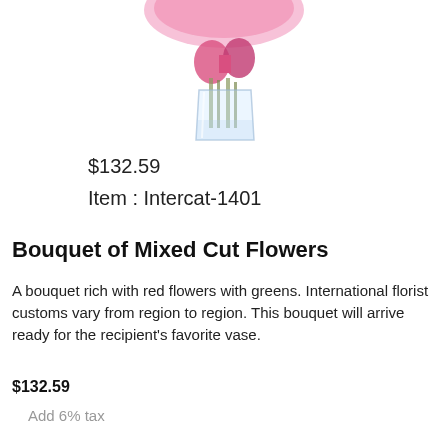[Figure (photo): A pink flower bouquet in a clear glass vase, partially cropped at top]
$132.59
Item : Intercat-1401
Bouquet of Mixed Cut Flowers
A bouquet rich with red flowers with greens. International florist customs vary from region to region. This bouquet will arrive ready for the recipient's favorite vase.
$132.59
Add 6% tax